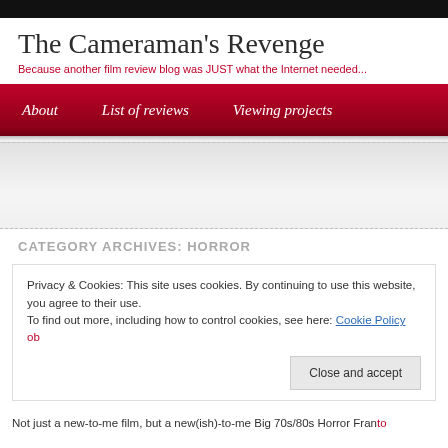The Cameraman's Revenge
Because another film review blog was JUST what the Internet needed...
About   List of reviews   Viewing projects
CATEGORY ARCHIVES: HORROR
Privacy & Cookies: This site uses cookies. By continuing to use this website, you agree to their use.
To find out more, including how to control cookies, see here: Cookie Policy
Close and accept
Not just a new-to-me film, but a new(ish)-to-me Big 70s/80s Horror Fran…